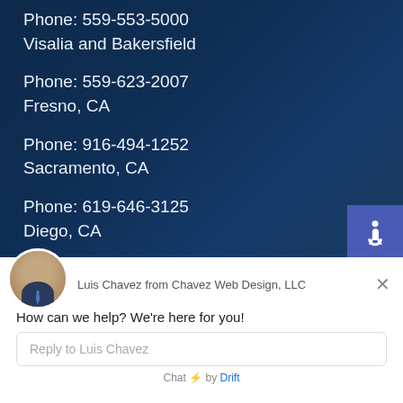Phone: 559-553-5000
Visalia and Bakersfield
Phone: 559-623-2007
Fresno, CA
Phone: 916-494-1252
Sacramento, CA
Phone: 619-646-3125
Diego, CA
[Figure (screenshot): Accessibility icon (wheelchair symbol) in blue square]
Luis Chavez from Chavez Web Design, LLC
How can we help? We're here for you!
Reply to Luis Chavez
Chat ⚡ by Drift